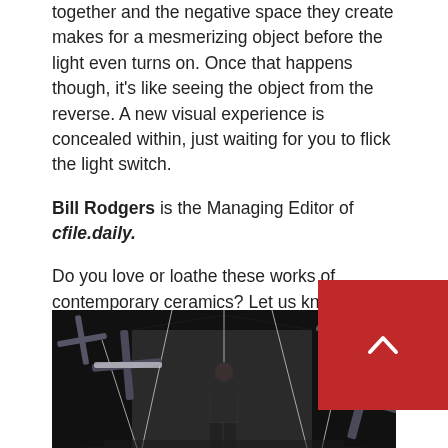together and the negative space they create makes for a mesmerizing object before the light even turns on. Once that happens though, it's like seeing the object from the reverse. A new visual experience is concealed within, just waiting for you to flick the light switch.
Bill Rodgers is the Managing Editor of cfile.daily.
Do you love or loathe these works of contemporary ceramics? Let us know in the comments.
[Figure (photo): A person standing with arms outstretched in a dark room surrounded by suspended cross-shaped or X-shaped sculptural elements with thin wires]